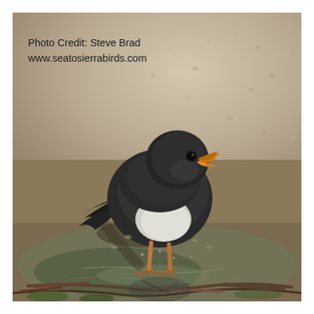[Figure (photo): A small dark bird with orange-yellow beak standing at the edge of water on a gravelly surface. The bird appears to be a Black Phoebe or similar species, with dark gray/black plumage on its upper body and white on its belly. It stands on tan/orange legs near water that reflects its image. The background is a blurred sandy/gravel surface lit by sunlight.]
Photo Credit: Steve Brad
www.seatosierrabirds.com